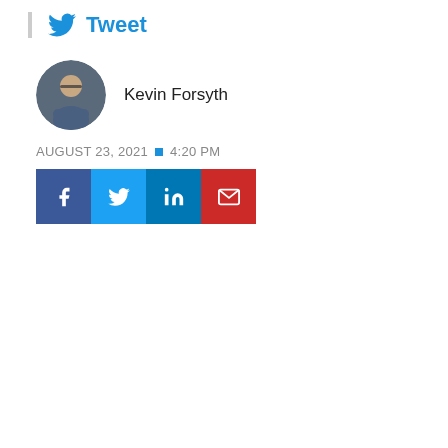Tweet
Kevin Forsyth
AUGUST 23, 2021 ■ 4:20 PM
[Figure (other): Social share buttons: Facebook, Twitter, LinkedIn, Email]